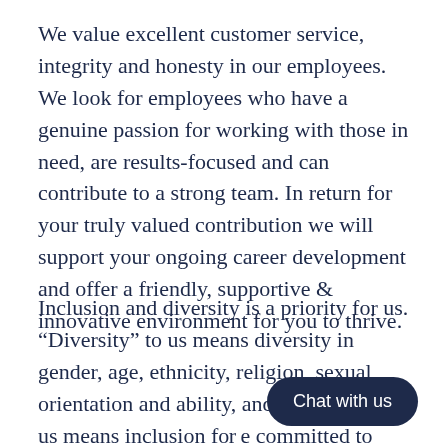We value excellent customer service, integrity and honesty in our employees. We look for employees who have a genuine passion for working with those in need, are results-focused and can contribute to a strong team. In return for your truly valued contribution we will support your ongoing career development and offer a friendly, supportive & innovative environment for you to thrive.
Inclusion and diversity is a priority for us. “Diversity” to us means diversity in gender, age, ethnicity, religion, sexual orientation and ability, and “inclusion” for us means inclusion f…e committed to fostering a truly dive…at is inclusive of everyone. Therefore, we welcome applicants who reflect diversity of gender, cultur…